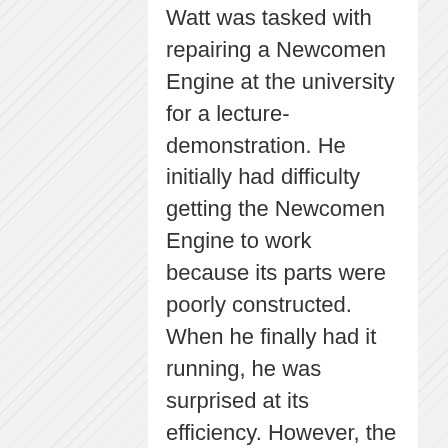Watt was tasked with repairing a Newcomen Engine at the university for a lecture-demonstration. He initially had difficulty getting the Newcomen Engine to work because its parts were poorly constructed. When he finally had it running, he was surprised at its efficiency. However, the engine was constantly running out of coal because every cycle required the heating and the cooling of the cylinder, thus resulting in a large waste of energy.
In 1769, Watt devised a system whereby the cylinder and the condenser were separate, making it